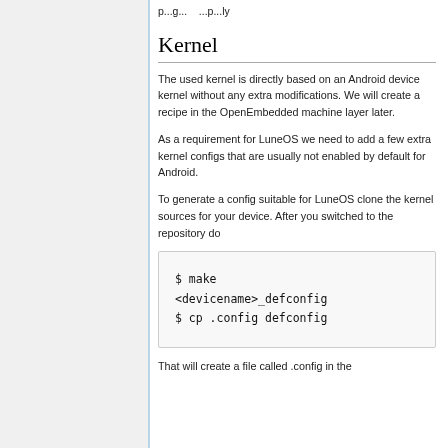p...g... ...p...ly
Kernel
The used kernel is directly based on an Android device kernel without any extra modifications. We will create a recipe in the OpenEmbedded machine layer later.
As a requirement for LuneOS we need to add a few extra kernel configs that are usually not enabled by default for Android.
To generate a config suitable for LuneOS clone the kernel sources for your device. After you switched to the repository do
$ make <devicename>_defconfig
$ cp .config defconfig
That will create a file called .config in the